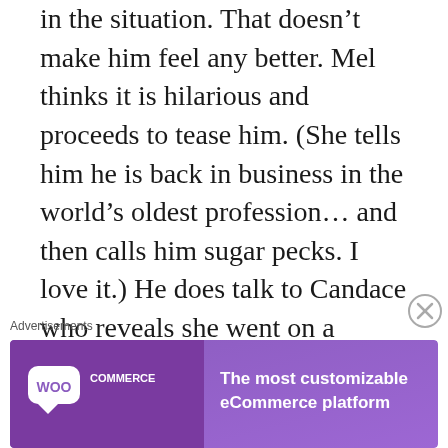in the situation. That doesn't make him feel any better. Mel thinks it is hilarious and proceeds to tease him. (She tells him he is back in business in the world's oldest profession… and then calls him sugar pecks. I love it.) He does talk to Candace who reveals she went on a shopping spree… but didn't pay him. When he asks for the money… things go downhill. Especially since Candace tells Joe… she never told
Advertisements
[Figure (other): WooCommerce advertisement banner with purple background. Left side shows WooCommerce logo (speech bubble icon with 'WOO COMMERCE' text), right side reads 'The most customizable eCommerce platform']